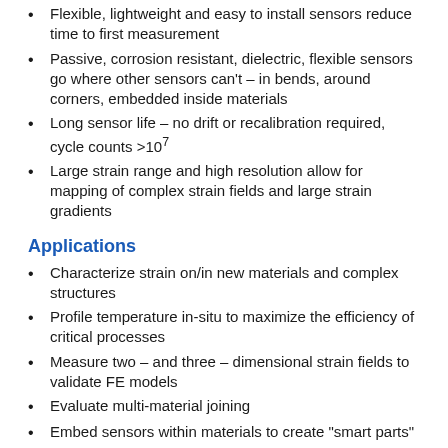Flexible, lightweight and easy to install sensors reduce time to first measurement
Passive, corrosion resistant, dielectric, flexible sensors go where other sensors can't – in bends, around corners, embedded inside materials
Long sensor life – no drift or recalibration required, cycle counts >10⁷
Large strain range and high resolution allow for mapping of complex strain fields and large strain gradients
Applications
Characterize strain on/in new materials and complex structures
Profile temperature in-situ to maximize the efficiency of critical processes
Measure two – and three – dimensional strain fields to validate FE models
Evaluate multi-material joining
Embed sensors within materials to create "smart parts"
The ODiSI in Action – High Definition Fiber Optic Sensing (HD-FOS)